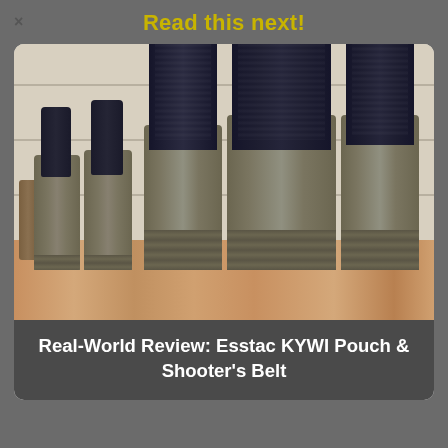Read this next!
[Figure (photo): Photo of Esstac KYWI magazine pouches (olive/tan colored) arranged on a wooden surface. The pouches hold multiple pistol and rifle magazines (dark/black colored) of various sizes. The setup demonstrates the KYWI Pouch and Shooter's Belt product.]
Real-World Review: Esstac KYWI Pouch & Shooter's Belt